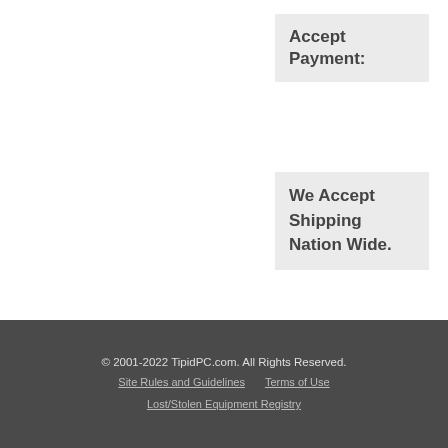Accept Payment:
We Accept Shipping Nation Wide.
© 2001-2022 TipidPC.com. All Rights Reserved.
Site Rules and Guidelines   Terms of Use
Lost/Stolen Equipment Registry